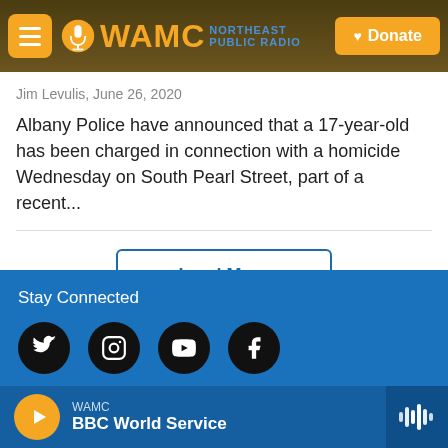[Figure (screenshot): WAMC Northeast Public Radio website header with logo, menu button, and Donate button]
Jim Levulis,  June 26, 2020
Albany Police have announced that a 17-year-old has been charged in connection with a homicide Wednesday on South Pearl Street, part of a recent...
Load More
Stay Connected
[Figure (infographic): Social media icons: Twitter, Instagram, YouTube, Facebook]
WAMC
BBC World Service